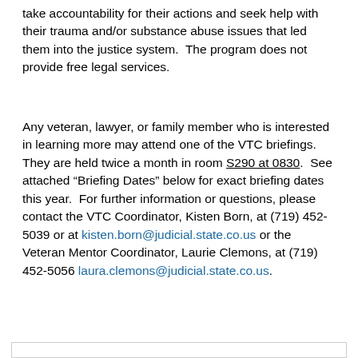take accountability for their actions and seek help with their trauma and/or substance abuse issues that led them into the justice system.  The program does not provide free legal services.
Any veteran, lawyer, or family member who is interested in learning more may attend one of the VTC briefings.  They are held twice a month in room S290 at 0830.  See attached "Briefing Dates" below for exact briefing dates this year.  For further information or questions, please contact the VTC Coordinator, Kisten Born, at (719) 452-5039 or at kisten.born@judicial.state.co.us or the Veteran Mentor Coordinator, Laurie Clemons, at (719) 452-5056 laura.clemons@judicial.state.co.us.